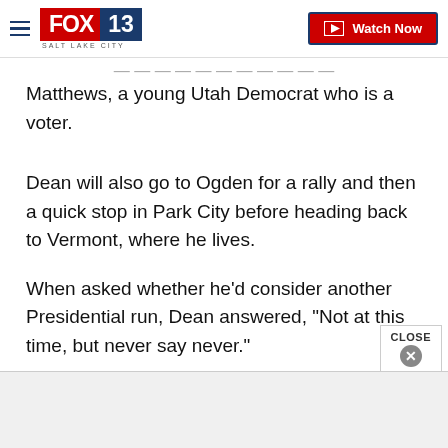FOX 13 Salt Lake City — Watch Now
Matthews, a young Utah Democrat who is a voter.
Dean will also go to Ogden for a rally and then a quick stop in Park City before heading back to Vermont, where he lives.
When asked whether he'd consider another Presidential run, Dean answered, "Not at this time, but never say never."
[Figure (screenshot): Advertisement banner area at the bottom of the page with a CLOSE button overlay]